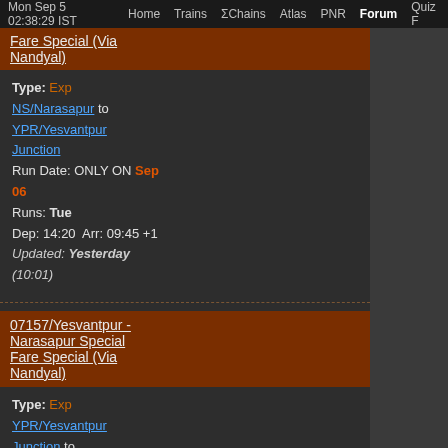Mon Sep 5 02:38:29 IST  Home  Trains  ΣChains  Atlas  PNR  Forum  Quiz F
Fare Special (Via Nandyal)
Type: Exp
NS/Narasapur to YPR/Yesvantpur Junction
Run Date: ONLY ON Sep 06
Runs: Tue
Dep: 14:20  Arr: 09:45 +1
Updated: Yesterday (10:01)
07157/Yesvantpur - Narasapur Special Fare Special (Via Nandyal)
Type: Exp
YPR/Yesvantpur Junction to NS/Narasapur
Run Date: ONLY ON Sep 07
Runs: Wed